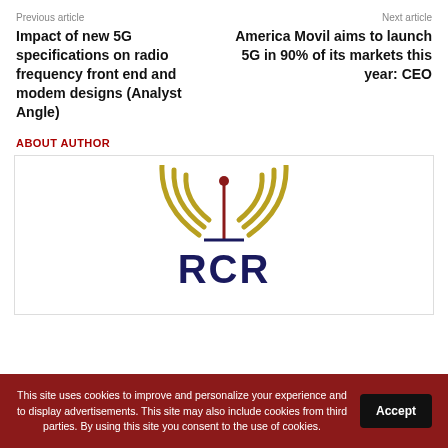Previous article
Impact of new 5G specifications on radio frequency front end and modem designs (Analyst Angle)
Next article
America Movil aims to launch 5G in 90% of its markets this year: CEO
ABOUT AUTHOR
[Figure (logo): RCR Wireless News logo — radio wave signal arcs above an antenna with the letters RCR below in dark navy.]
This site uses cookies to improve and personalize your experience and to display advertisements. This site may also include cookies from third parties. By using this site you consent to the use of cookies.